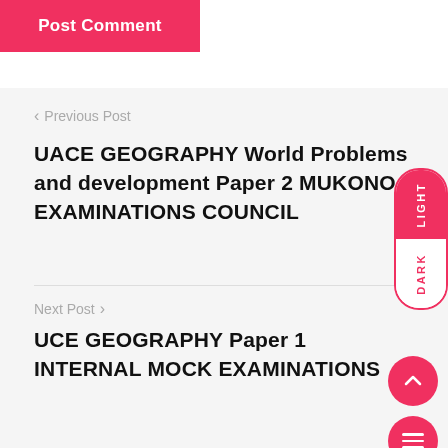Post Comment
< Previous Post
UACE GEOGRAPHY World Problems and development Paper 2 MUKONO EXAMINATIONS COUNCIL
Next Post >
UCE GEOGRAPHY Paper 1 INTERNAL MOCK EXAMINATIONS